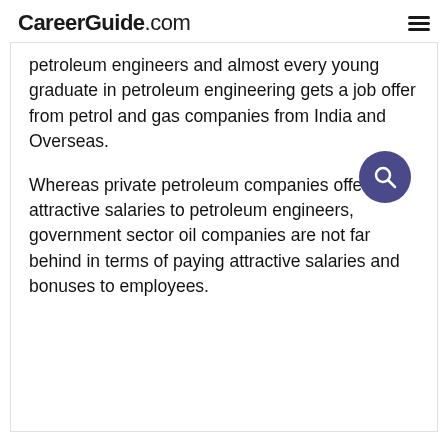CareerGuide.com
petroleum engineers and almost every young graduate in petroleum engineering gets a job offer from petrol and gas companies from India and Overseas.
Whereas private petroleum companies offer attractive salaries to petroleum engineers, government sector oil companies are not far behind in terms of paying attractive salaries and bonuses to employees.